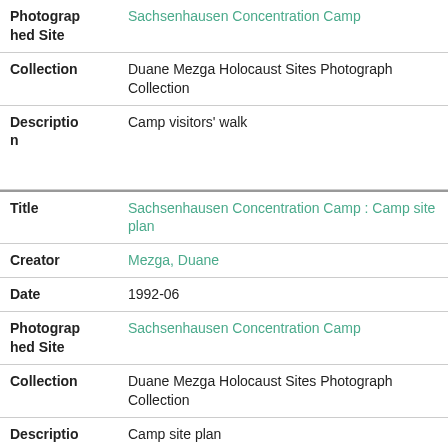| Photographed Site | Sachsenhausen Concentration Camp |
| Collection | Duane Mezga Holocaust Sites Photograph Collection |
| Description | Camp visitors' walk |
| Title | Sachsenhausen Concentration Camp : Camp site plan |
| Creator | Mezga, Duane |
| Date | 1992-06 |
| Photographed Site | Sachsenhausen Concentration Camp |
| Collection | Duane Mezga Holocaust Sites Photograph Collection |
| Description | Camp site plan |